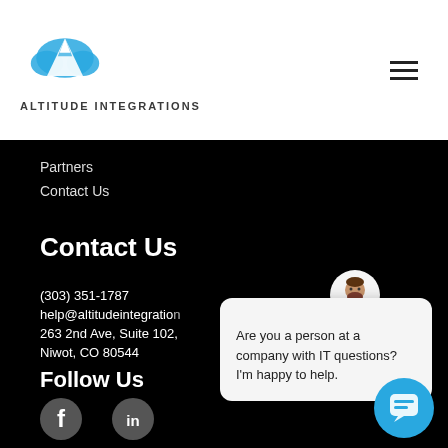[Figure (logo): Altitude Integrations logo with blue mountain/cloud icon and company name below]
Partners
Contact Us
Contact Us
(303) 351-1787
help@altitudeintegrations
263 2nd Ave, Suite 102, Niwot, CO 80544
Follow Us
[Figure (illustration): Facebook and LinkedIn social media icons in white/grey circles]
[Figure (screenshot): Chat popup widget with avatar showing: Are you a person at a company with IT questions? I'm happy to help.]